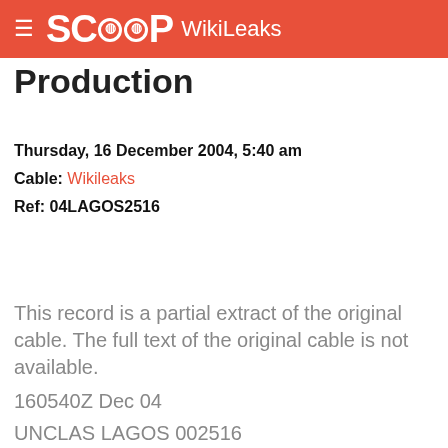SCOOP WikiLeaks
Production
Thursday, 16 December 2004, 5:40 am
Cable: Wikileaks
Ref: 04LAGOS2516
This record is a partial extract of the original cable. The full text of the original cable is not available.
160540Z Dec 04
UNCLAS LAGOS 002516